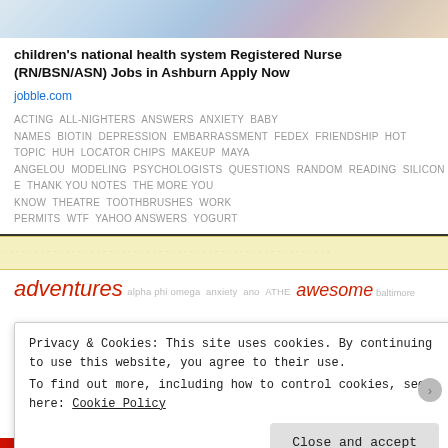[Figure (photo): Partial photograph at top of page showing medical/nursing scene with blue and purple colors]
children's national health system Registered Nurse (RN/BSN/ASN) Jobs in Ashburn Apply Now
jobble.com
ACTING ALL-NIGHTERS ANSWERS ANXIETY BABY NAMES BIOTIN DEPRESSION EMBARRASSMENT FEDEX FRIENDSHIP HOT TOPIC HUH LOCATOR CHIPS MAKEUP MAYA ANGELOU MODELING PSYCHOLOGISTS QUESTIONS RANDOM READING SILICON E THANK YOU NOTES THE MORE YOU KNOW THEATRE TOOTHBRUSHES WORK PERMITS WTF YAHOO ANSWERS YOGURT
[Figure (screenshot): Yellow/cream colored strip with faint text pattern]
adventures alpha phi omega anxiety ano ATHE awesome baltimore
Privacy & Cookies: This site uses cookies. By continuing to use this website, you agree to their use.
To find out more, including how to control cookies, see here: Cookie Policy
Close and accept